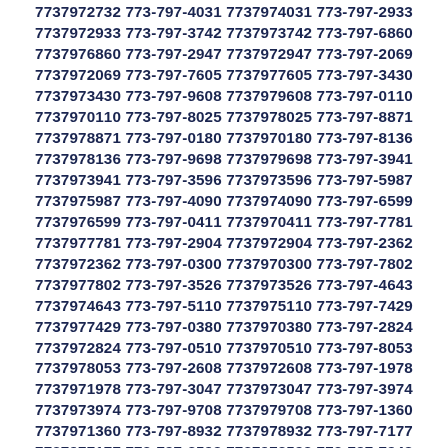7737972732 773-797-4031 7737974031 773-797-2933
7737972933 773-797-3742 7737973742 773-797-6860
7737976860 773-797-2947 7737972947 773-797-2069
7737972069 773-797-7605 7737977605 773-797-3430
7737973430 773-797-9608 7737979608 773-797-0110
7737970110 773-797-8025 7737978025 773-797-8871
7737978871 773-797-0180 7737970180 773-797-8136
7737978136 773-797-9698 7737979698 773-797-3941
7737973941 773-797-3596 7737973596 773-797-5987
7737975987 773-797-4090 7737974090 773-797-6599
7737976599 773-797-0411 7737970411 773-797-7781
7737977781 773-797-2904 7737972904 773-797-2362
7737972362 773-797-0300 7737970300 773-797-7802
7737977802 773-797-3526 7737973526 773-797-4643
7737974643 773-797-5110 7737975110 773-797-7429
7737977429 773-797-0380 7737970380 773-797-2824
7737972824 773-797-0510 7737970510 773-797-8053
7737978053 773-797-2608 7737972608 773-797-1978
7737971978 773-797-3047 7737973047 773-797-3974
7737973974 773-797-9708 7737979708 773-797-1360
7737971360 773-797-8932 7737978932 773-797-7177
7737977177 773-797-3592 7737973592 773-797-7948
7737977948 773-797-4048 7737974048 773-797-6152
7737976152 773-797-4108 7737974108 773-797-1820
7737971820 773-797-7747 7737977747 773-797-2538